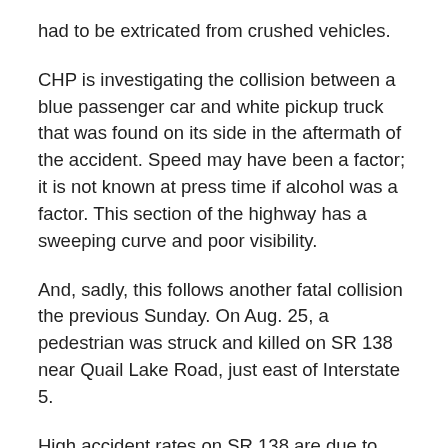had to be extricated from crushed vehicles.
CHP is investigating the collision between a blue passenger car and white pickup truck that was found on its side in the aftermath of the accident. Speed may have been a factor; it is not known at press time if alcohol was a factor. This section of the highway has a sweeping curve and poor visibility.
And, sadly, this follows another fatal collision the previous Sunday. On Aug. 25, a pedestrian was struck and killed on SR 138 near Quail Lake Road, just east of Interstate 5.
High accident rates on SR 138 are due to both driver behavior and roadway deficiencies. The road contains blind curves and limited safe passing zones, unsafe cross-street entry points and unpaved shoulders. Speeding and unsafe passing are common, exacerbating the accident rate and